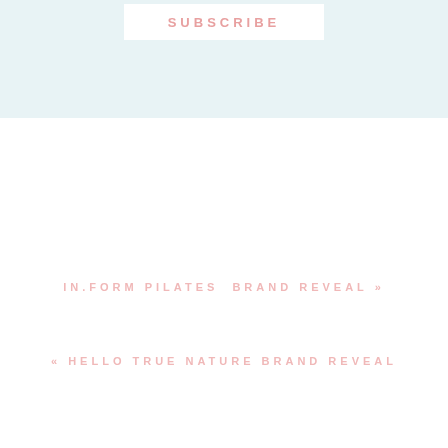[Figure (other): Light blue banner background at the top of the page with a white subscribe button containing text 'SUBSCRIBE' in pink spaced letters]
SUBSCRIBE
IN.FORM PILATES  BRAND REVEAL »
« HELLO TRUE NATURE BRAND REVEAL